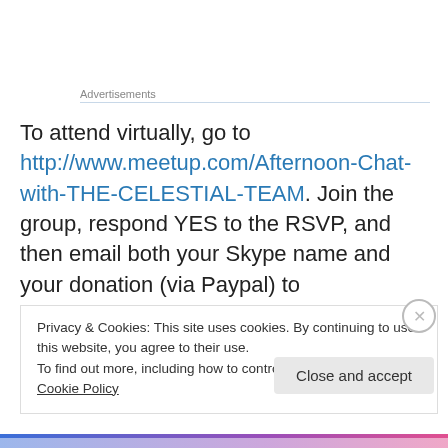Advertisements
To attend virtually, go to http://www.meetup.com/Afternoon-Chat-with-THE-CELESTIAL-TEAM. Join the group, respond YES to the RSVP, and then email both your Skype name and your donation (via Paypal) to thecelestialteam@gmail.com– and its a done deal!  However, it is very important that you
Privacy & Cookies: This site uses cookies. By continuing to use this website, you agree to their use.
To find out more, including how to control cookies, see here: Cookie Policy